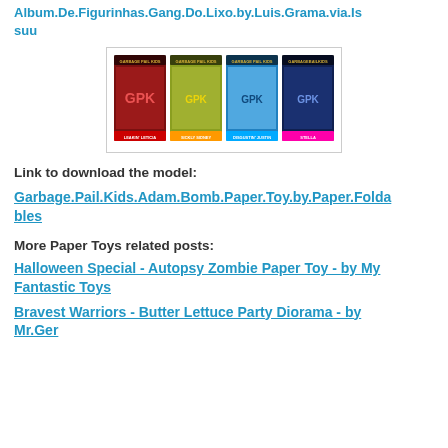Album.De.Figurinhas.Gang.Do.Lixo.by.Luis.Grama.via.Issuu
[Figure (photo): A strip of four Garbage Pail Kids trading cards shown side by side in a white bordered box.]
Link to download the model:
Garbage.Pail.Kids.Adam.Bomb.Paper.Toy.by.Paper.Foldables
More Paper Toys related posts:
Halloween Special - Autopsy Zombie Paper Toy - by My Fantastic Toys
Bravest Warriors - Butter Lettuce Party Diorama - by Mr.Ger